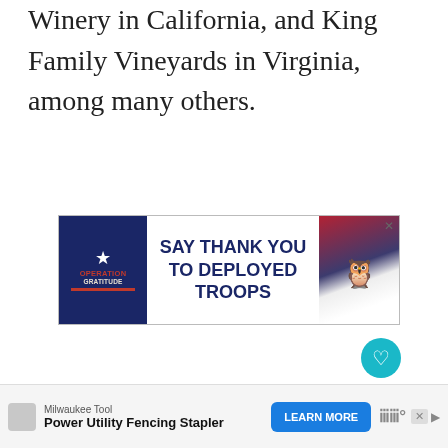Winery in California, and King Family Vineyards in Virginia, among many others.
[Figure (screenshot): Advertisement banner for Operation Gratitude saying 'SAY THANK YOU TO DEPLOYED TROOPS' with patriotic imagery and an owl mascot]
[Figure (screenshot): Website UI elements: heart/like button (teal), like count '1', share button, 'WHAT'S NEXT' panel with Norwegian Cruise Line thumbnail]
[Figure (screenshot): Bottom advertisement: Milwaukee Tool Power Utility Fencing Stapler with LEARN MORE button]